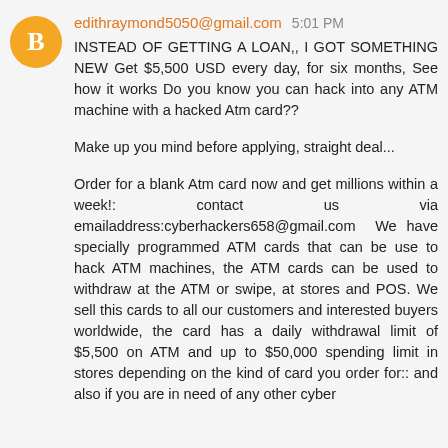[Figure (illustration): Orange circular avatar with a white blogger 'B' icon]
edithraymond5050@gmail.com  5:01 PM
INSTEAD OF GETTING A LOAN,, I GOT SOMETHING NEW Get $5,500 USD every day, for six months, See how it works Do you know you can hack into any ATM machine with a hacked Atm card??

Make up you mind before applying, straight deal...

Order for a blank Atm card now and get millions within a week!: contact us via emailaddress:cyberhackers658@gmail.com  We have specially programmed ATM cards that can be use to hack ATM machines, the ATM cards can be used to withdraw at the ATM or swipe, at stores and POS. We sell this cards to all our customers and interested buyers worldwide, the card has a daily withdrawal limit of $5,500 on ATM and up to $50,000 spending limit in stores depending on the kind of card you order for:: and also if you are in need of any other cyber